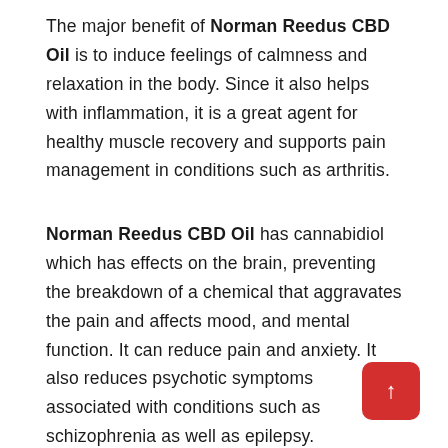The major benefit of Norman Reedus CBD Oil is to induce feelings of calmness and relaxation in the body. Since it also helps with inflammation, it is a great agent for healthy muscle recovery and supports pain management in conditions such as arthritis.
Norman Reedus CBD Oil has cannabidiol which has effects on the brain, preventing the breakdown of a chemical that aggravates the pain and affects mood, and mental function. It can reduce pain and anxiety. It also reduces psychotic symptoms associated with conditions such as schizophrenia as well as epilepsy. Additionally, it helps in reducing inflammation and irritation on the skin. For this reason, it helps with conditions such as acne and psoriasis.